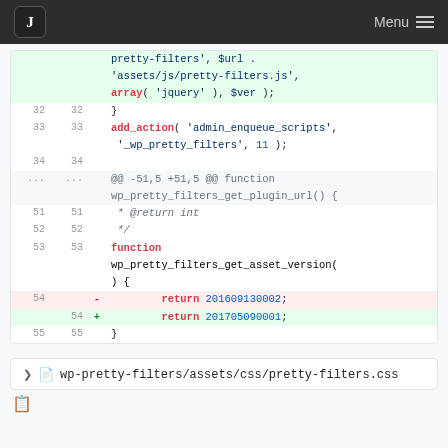J  Menu
[Figure (screenshot): Code diff view showing lines 32-55 of a PHP file with a changed return value from 201609130002 to 201705090001]
wp-pretty-filters/assets/css/pretty-filters.css